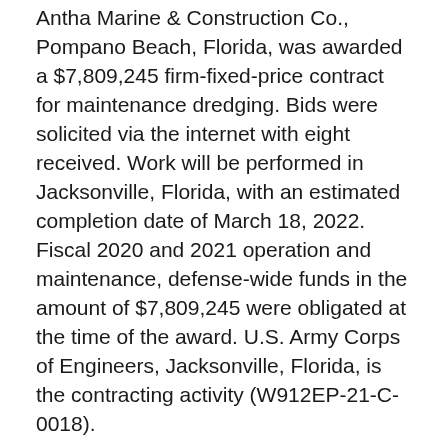Antha Marine & Construction Co., Pompano Beach, Florida, was awarded a $7,809,245 firm-fixed-price contract for maintenance dredging. Bids were solicited via the internet with eight received. Work will be performed in Jacksonville, Florida, with an estimated completion date of March 18, 2022. Fiscal 2020 and 2021 operation and maintenance, defense-wide funds in the amount of $7,809,245 were obligated at the time of the award. U.S. Army Corps of Engineers, Jacksonville, Florida, is the contracting activity (W912EP-21-C-0018).
DEFENSE LOGISTICS AGENCY
Trident E&D LLC* Pottstown, Pennsylvania is...